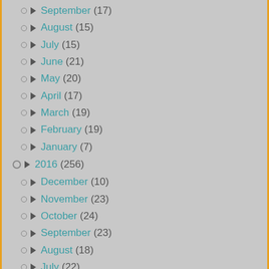September (17)
August (15)
July (15)
June (21)
May (20)
April (17)
March (19)
February (19)
January (7)
2016 (256)
December (10)
November (23)
October (24)
September (23)
August (18)
July (22)
June (19)
May (10)